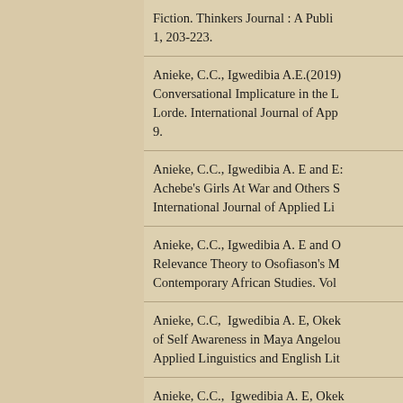Fiction. Thinkers Journal : A Public 1, 203-223.
Anieke, C.C., Igwedibia A.E.(2019) Conversational Implicature in the L Lorde. International Journal of App 9.
Anieke, C.C., Igwedibia A. E and E: Achebe's Girls At War and Others S International Journal of Applied Li
Anieke, C.C., Igwedibia A. E and O Relevance Theory to Osofiason's M Contemporary African Studies. Vol
Anieke, C.C,  Igwedibia A. E, Okek of Self Awareness in Maya Angelou Applied Linguistics and English Lit
Anieke, C.C.,  Igwedibia A. E, Okek Chimamanda Ngozi Adichie's Ame Ikoro International Journal of Cont
Anieke, C.C., Igwedibia A. E, Oke...